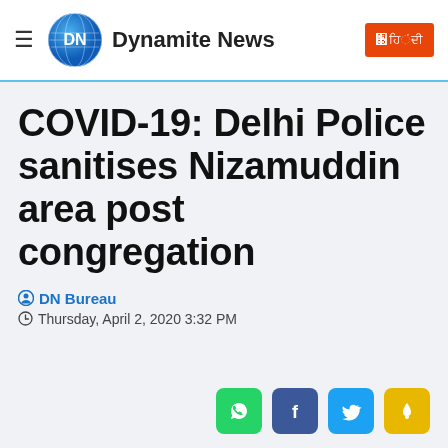Dynamite News
COVID-19: Delhi Police sanitises Nizamuddin area post congregation
DN Bureau
Thursday, April 2, 2020 3:32 PM